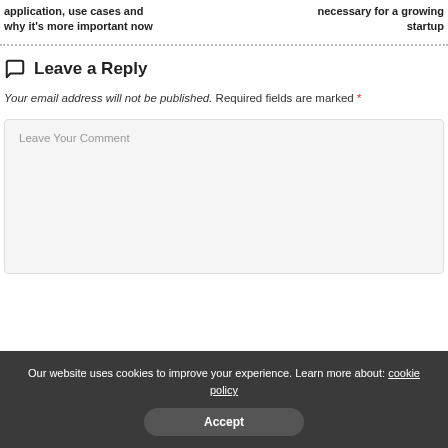application, use cases and why it's more important now | necessary for a growing startup
Leave a Reply
Your email address will not be published. Required fields are marked *
Leave Your Comment
Our website uses cookies to improve your experience. Learn more about: cookie policy
Accept